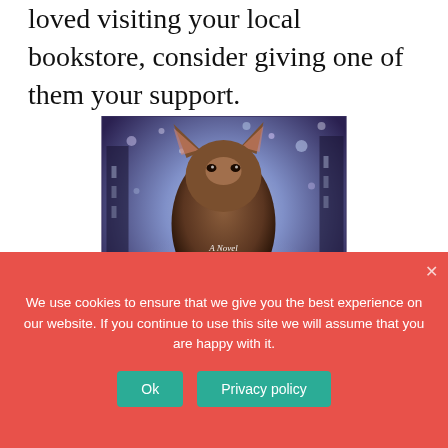loved visiting your local bookstore, consider giving one of them your support.
[Figure (photo): Book cover of 'City of Time and Magic: A Novel' featuring a fox-like figure with pointed ears against a misty, magical cityscape with bokeh lights in purple and blue tones. White script text reads 'A Novel / City of Time and Magic'.]
We use cookies to ensure that we give you the best experience on our website. If you continue to use this site we will assume that you are happy with it.
Ok
Privacy policy